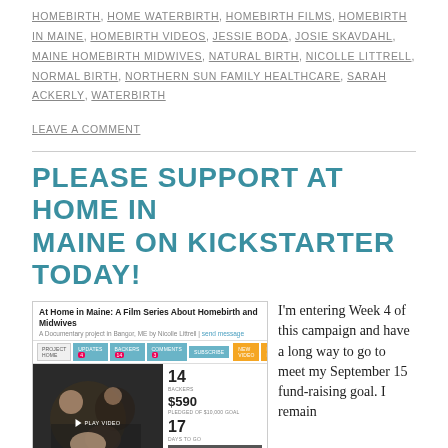HOMEBIRTH, HOME WATERBIRTH, HOMEBIRTH FILMS, HOMEBIRTH IN MAINE, HOMEBIRTH VIDEOS, JESSIE BODA, JOSIE SKAVDAHL, MAINE HOMEBIRTH MIDWIVES, NATURAL BIRTH, NICOLLE LITTRELL, NORMAL BIRTH, NORTHERN SUN FAMILY HEALTHCARE, SARAH ACKERLY, WATERBIRTH
LEAVE A COMMENT
PLEASE SUPPORT AT HOME IN MAINE ON KICKSTARTER TODAY!
[Figure (screenshot): Screenshot of a Kickstarter campaign page for 'At Home in Maine: A Film Series About Homebirth and Midwives' — a documentary project in Bangor, ME by Nicolle Littrell. Shows project navigation tabs (PROJECT HOME, UPDATES, BACKERS, COMMENTS, SUBSCRIBE), a play video image of a couple with newborn, and statistics: 14 BACKERS, $590 PLEDGED OF $10,000 GOAL, 17 DAYS TO GO. A disclaimer bar states the project will only be funded if at least $10,000 is pledged by Thursday Sep 15 at 11:28am EDT. A green BACK THIS PROJECT button is shown.]
I'm entering Week 4 of this campaign and have a long way to go to meet my September 15 fund-raising goal. I remain...